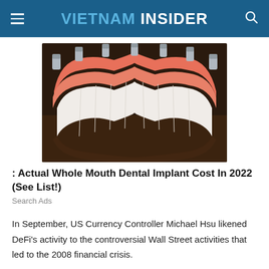VIETNAM INSIDER
[Figure (photo): Close-up photo of a full-arch dental implant prosthesis with metal abutments on a dark wooden surface]
: Actual Whole Mouth Dental Implant Cost In 2022 (See List!)
Search Ads
In September, US Currency Controller Michael Hsu likened DeFi's activity to the controversial Wall Street activities that led to the 2008 financial crisis.
“One of the biggest questions facing regulators right now is how to